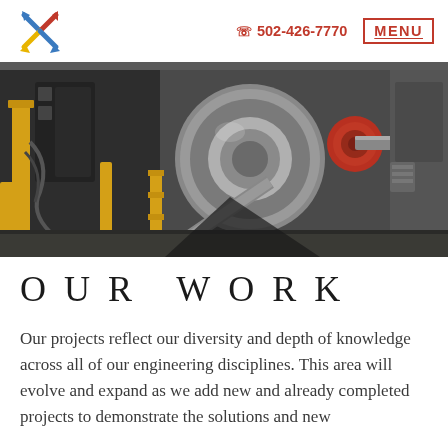502-426-7770  MENU
[Figure (photo): Industrial machinery in a factory setting — large metal roller/coil equipment with yellow safety guards, hoses, and a red cylindrical component, taken from an interior factory floor perspective.]
OUR WORK
Our projects reflect our diversity and depth of knowledge across all of our engineering disciplines. This area will evolve and expand as we add new and already completed projects to demonstrate the solutions and new